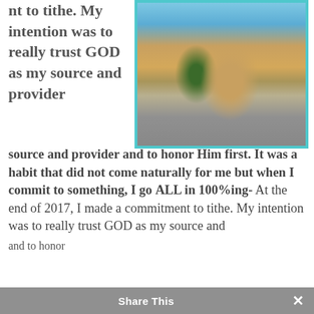nt to tithe. My intention was to really trust GOD as my source and provider and to honor Him first. It was a habit that did not come naturally for me but when I commit to something, I go ALL in 100%ing- At the end of 2017, I made a commitment to tithe. My intention was to really trust GOD as my source and provider and to honor
[Figure (photo): Photo of a person standing on a large rock wearing a teal/blue dress and tan sandals, with greenery in the background. Image has a teal border.]
Share This ×